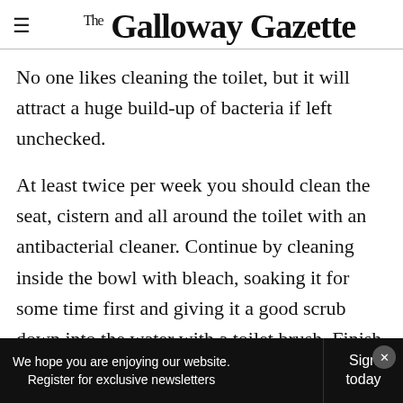The Galloway Gazette
No one likes cleaning the toilet, but it will attract a huge build-up of bacteria if left unchecked.
At least twice per week you should clean the seat, cistern and all around the toilet with an antibacterial cleaner. Continue by cleaning inside the bowl with bleach, soaking it for some time first and giving it a good scrub down into the water with a toilet brush. Finish with a flush.
We hope you are enjoying our website. Register for exclusive newsletters | Sign today